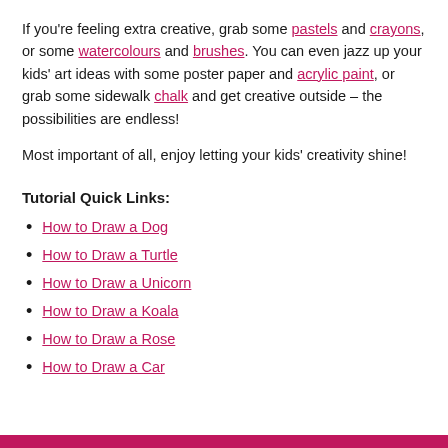If you're feeling extra creative, grab some pastels and crayons, or some watercolours and brushes. You can even jazz up your kids' art ideas with some poster paper and acrylic paint, or grab some sidewalk chalk and get creative outside – the possibilities are endless!
Most important of all, enjoy letting your kids' creativity shine!
Tutorial Quick Links:
How to Draw a Dog
How to Draw a Turtle
How to Draw a Unicorn
How to Draw a Koala
How to Draw a Rose
How to Draw a Car